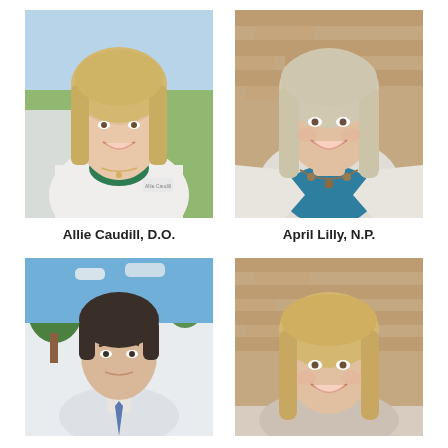[Figure (photo): Headshot of Allie Caudill, D.O., a young woman with blonde hair wearing a white lab coat over a green shirt, smiling outdoors with green landscape background]
[Figure (photo): Headshot of April Lilly, N.P., a middle-aged woman with long blonde/gray hair wearing a teal shirt and white cardigan with a long necklace, smiling in front of a brick wall]
Allie Caudill, D.O.
April Lilly, N.P.
[Figure (photo): Headshot of a young man with dark short hair wearing a collared shirt and tie, photographed outdoors with trees in background]
[Figure (photo): Headshot of a young woman with long blonde hair smiling in front of a brick wall]